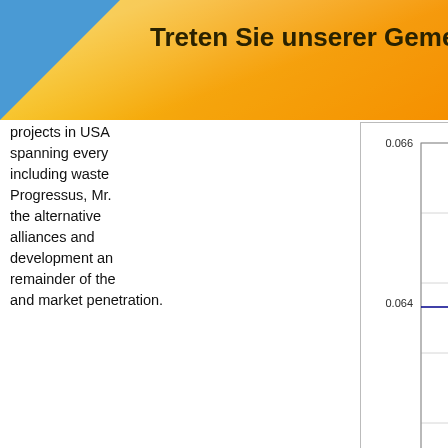Treten Sie unserer Gemeinschaft bei
projects in USA spanning every including waste Progressus, Mr. the alternative alliances and development and remainder of the and market penetration.
[Figure (continuous-plot): Line chart showing a nearly flat blue line around 0.065, with a red dot at the right end near x=2130. X-axis labels: 1630, 1730, 1830, 1930, 2030, 2130. Y-axis labels: 0.062, 0.064, 0.066. Source: (c) www.advfn.com]
The Company will continue to keep the market updated on the additional goals and milestones of Progressus.
About Progressus Clean Technologies
Progress Clean Technologies (formerly AES-100 Inc.) is a technology company focused on the development of and separation technologies. Progressus Clean Tech...